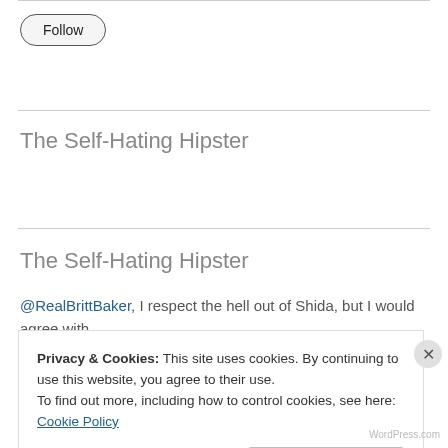[Figure (screenshot): Follow button with rounded rectangle border]
The Self-Hating Hipster
The Self-Hating Hipster
@RealBrittBaker, I respect the hell out of Shida, but I would agree with you that AEW needs a Doctor of More Pretty
Privacy & Cookies: This site uses cookies. By continuing to use this website, you agree to their use.
To find out more, including how to control cookies, see here: Cookie Policy
Close and accept